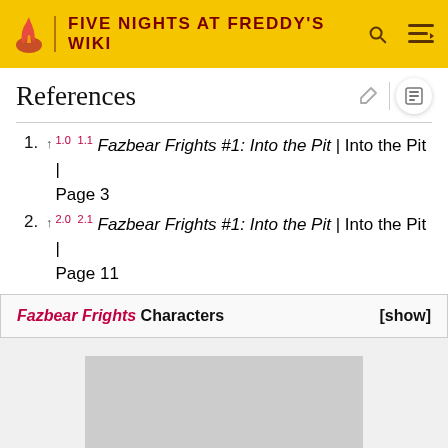FIVE NIGHTS AT FREDDY'S WIKI
References
↑ 1.0 1.1 Fazbear Frights #1: Into the Pit | Into the Pit | Page 3
↑ 2.0 2.1 Fazbear Frights #1: Into the Pit | Into the Pit | Page 11
Fazbear Frights Characters [show]
[Figure (photo): Gray placeholder image area]